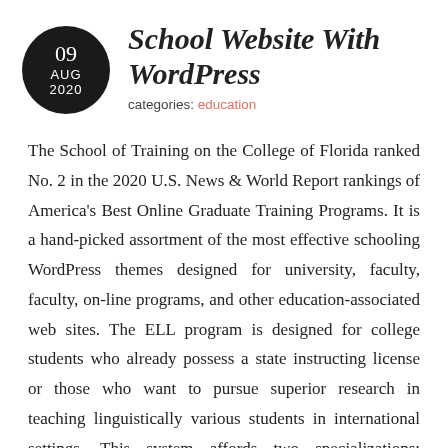[Figure (other): Black circle with date: 09 AUG 2020]
School Website With WordPress
categories: education
The School of Training on the College of Florida ranked No. 2 in the 2020 U.S. News & World Report rankings of America's Best Online Graduate Training Programs. It is a hand-picked assortment of the most effective schooling WordPress themes designed for university, faculty, faculty, on-line programs, and other education-associated web sites. The ELL program is designed for college students who already possess a state instructing license or those who want to pursue superior research in teaching linguistically various students in international settings. This system affords two specializations: Teaching English